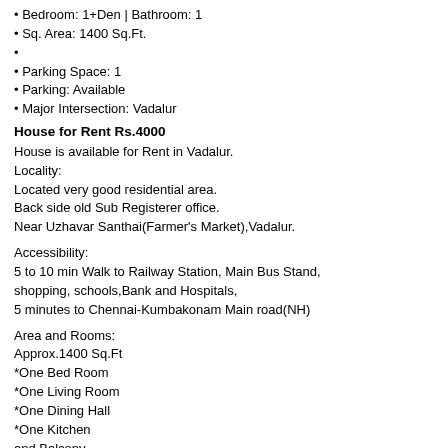Bedroom: 1+Den | Bathroom: 1
Sq. Area: 1400 Sq.Ft.
Parking Space: 1
Parking: Available
Major Intersection: Vadalur
House for Rent Rs.4000
House is available for Rent in Vadalur.
Locality:
Located very good residential area.
Back side old Sub Registerer office.
Near Uzhavar Santhai(Farmer's Market),Vadalur.
Accessibility:
5 to 10 min Walk to Railway Station, Main Bus Stand, shopping, schools,Bank and Hospitals,
5 minutes to Chennai-Kumbakonam Main road(NH)
Area and Rooms:
Approx.1400 Sq.Ft
*One Bed Room
*One Living Room
*One Dining Hall
*One Kitchen
and Balcony
Facilities:
Very Good Power supply and Water. Open Space for drying cloths.
*Roofed Car parking available for additional rent